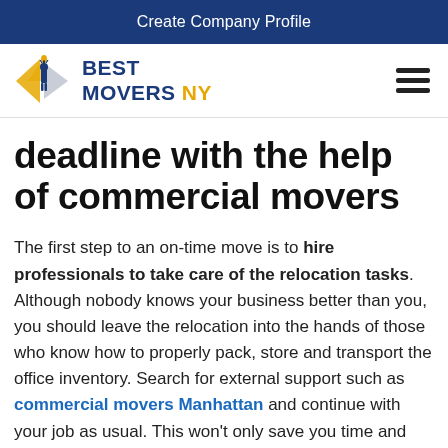Create Company Profile
[Figure (logo): Best Movers NY logo with Statue of Liberty graphic and orange/blue star design, text reads BEST MOVERS NY]
deadline with the help of commercial movers
The first step to an on-time move is to hire professionals to take care of the relocation tasks. Although nobody knows your business better than you, you should leave the relocation into the hands of those who know how to properly pack, store and transport the office inventory. Search for external support such as commercial movers Manhattan and continue with your job as usual. This won't only save you time and meet the deadline but will save you